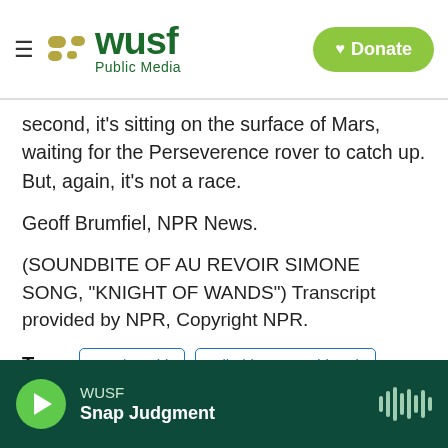WUSF Public Media | Donate
second, it's sitting on the surface of Mars, waiting for the Perseverence rover to catch up. But, again, it's not a race.
Geoff Brumfiel, NPR News.
(SOUNDBITE OF AU REVOIR SIMONE SONG, "KNIGHT OF WANDS") Transcript provided by NPR, Copyright NPR.
Tags   US / World   All Things Considered
[Figure (other): Social share buttons: Facebook, Twitter, LinkedIn, Email; and WUSF audio player bar showing Snap Judgment]